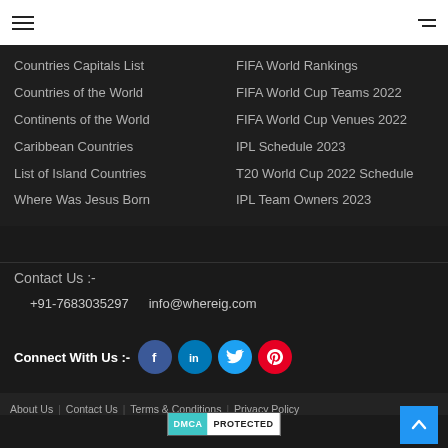[Navigation header with hamburger menus]
Countries Capitals List
FIFA World Rankings
Countries of the World
FIFA World Cup Teams 2022
Continents of the World
FIFA World Cup Venues 2022
Caribbean Countries
IPL Schedule 2023
List of Island Countries
T20 World Cup 2022 Schedule
Where Was Jesus Born
IPL Team Owners 2023
Contact Us :-
+91-7683035297   info@whereig.com
Connect With Us :-
About Us   Contact Us   Terms & Conditions   Privacy Policy
[Figure (logo): DMCA PROTECTED badge]